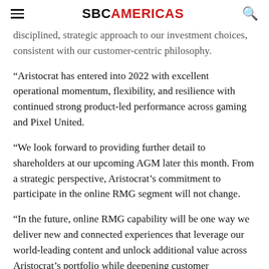SBC AMERICAS
disciplined, strategic approach to our investment choices, consistent with our customer-centric philosophy.
“Aristocrat has entered into 2022 with excellent operational momentum, flexibility, and resilience with continued strong product-led performance across gaming and Pixel United.
“We look forward to providing further detail to shareholders at our upcoming AGM later this month. From a strategic perspective, Aristocrat’s commitment to participate in the online RMG segment will not change.
“In the future, online RMG capability will be one way we deliver new and connected experiences that leverage our world-leading content and unlock additional value across Aristocrat’s portfolio while deepening customer engagement